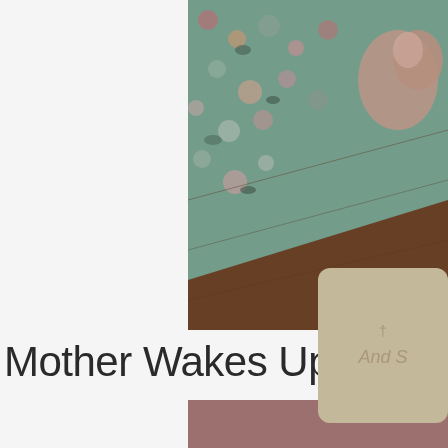[Figure (photo): Blurry close-up photo of what appears to be a baby or infant lying on a colorful floral patterned blanket/fabric on a wooden floor surface. There is a tan/khaki colored rounded square overlay card element in the lower right with a small cross/plus symbol and faint text 'And S'.]
Mother Wakes Up And S
[Figure (photo): Partially visible image at the bottom of the page with a muted rose/mauve pinkish-brown color, cropped.]